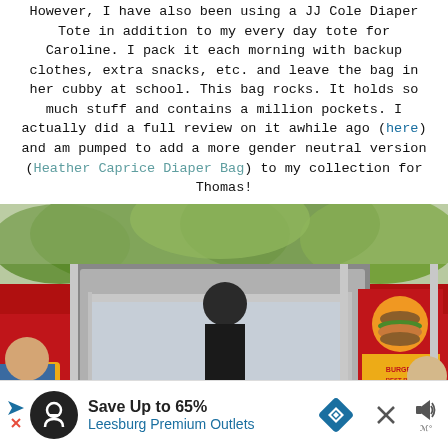However, I have also been using a JJ Cole Diaper Tote in addition to my every day tote for Caroline. I pack it each morning with backup clothes, extra snacks, etc. and leave the bag in her cubby at school. This bag rocks. It holds so much stuff and contains a million pockets. I actually did a full review on it awhile ago (here) and am pumped to add a more gender neutral version (Heather Caprice Diaper Bag) to my collection for Thomas!
[Figure (photo): A red food truck with a serving window open, a worker in black visible inside behind the counter, green trees in background, customers visible at the edges.]
Save Up to 65% Leesburg Premium Outlets